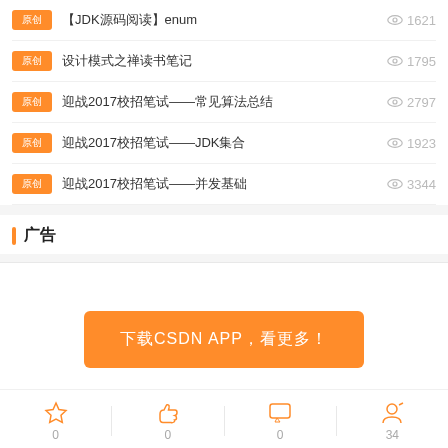【JDK源码阅读】enum 1621
设计模式之禅读书笔记 1795
迎战2017校招笔试——常见算法总结 2797
迎战2017校招笔试——JDK集合 1923
迎战2017校招笔试——并发基础 3344
广告
[Figure (other): Orange button: 下载CSDN APP，看更多！]
0  0  0  34